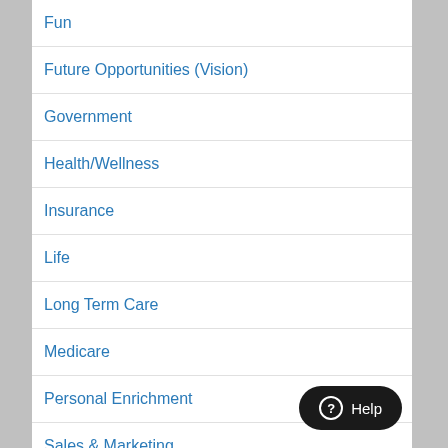Fun
Future Opportunities (Vision)
Government
Health/Wellness
Insurance
Life
Long Term Care
Medicare
Personal Enrichment
Sales & Marketing
Stone Hill Forms
Taxes